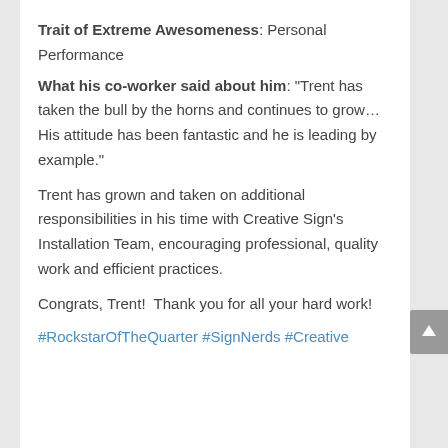Trait of Extreme Awesomeness: Personal Performance
What his co-worker said about him: "Trent has taken the bull by the horns and continues to grow…His attitude has been fantastic and he is leading by example."
Trent has grown and taken on additional responsibilities in his time with Creative Sign's Installation Team, encouraging professional, quality work and efficient practices.
Congrats, Trent!  Thank you for all your hard work!
#RockstarOfTheQuarter #SignNerds #Creative